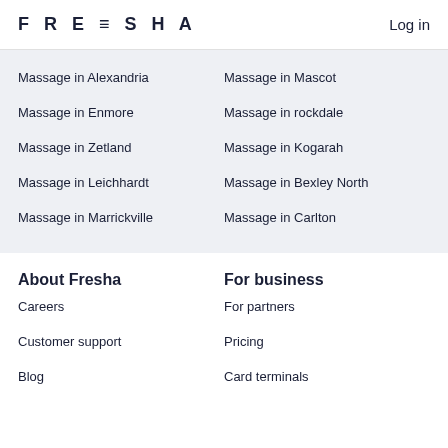FRESHA   Log in
Massage in Alexandria
Massage in Mascot
Massage in Enmore
Massage in rockdale
Massage in Zetland
Massage in Kogarah
Massage in Leichhardt
Massage in Bexley North
Massage in Marrickville
Massage in Carlton
About Fresha
For business
Careers
For partners
Customer support
Pricing
Blog
Card terminals